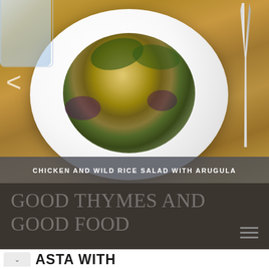[Figure (photo): Food photograph showing a white plate with chicken and wild rice salad with arugula and purple cabbage, a water glass in the top left corner, and a fork on the right side, on a wooden table background.]
CHICKEN AND WILD RICE SALAD WITH ARUGULA
GOOD THYMES AND GOOD FOOD
ASTA WITH